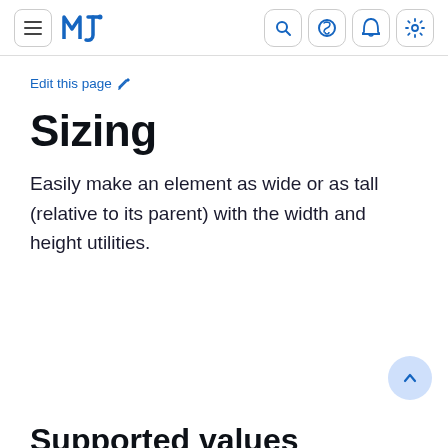MJ [logo] — navigation bar with search, github, bell, settings icons
Edit this page ✏
Sizing
Easily make an element as wide or as tall (relative to its parent) with the width and height utilities.
Supported values